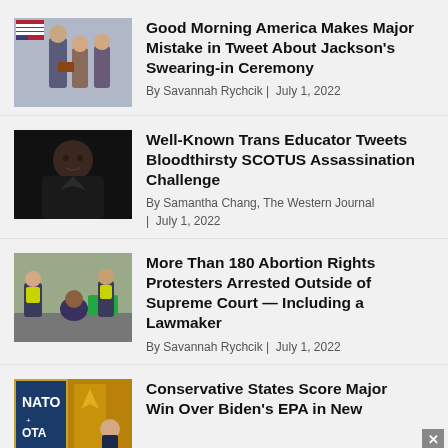[Figure (photo): Swearing-in ceremony photo with people in formal attire and US flag]
Good Morning America Makes Major Mistake in Tweet About Jackson's Swearing-in Ceremony
By Savannah Rychcik | July 1, 2022
[Figure (photo): Portrait of a Supreme Court Justice in black robes against dark background]
Well-Known Trans Educator Tweets Bloodthirsty SCOTUS Assassination Challenge
By Samantha Chang, The Western Journal | July 1, 2022
[Figure (photo): Police officers arresting protesters on a street, protesters wearing green vests]
More Than 180 Abortion Rights Protesters Arrested Outside of Supreme Court — Including a Lawmaker
By Savannah Rychcik | July 1, 2022
[Figure (photo): NATO sign with Biden visible, colorful background]
Conservative States Score Major Win Over Biden's EPA in New